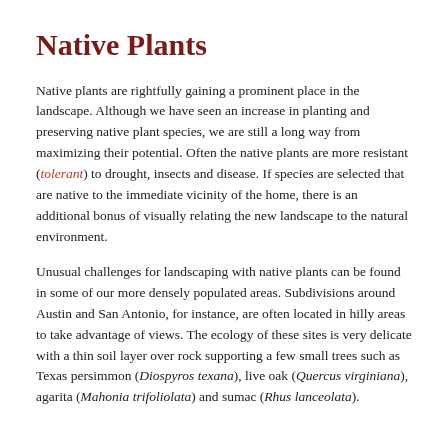Native Plants
Native plants are rightfully gaining a prominent place in the landscape. Although we have seen an increase in planting and preserving native plant species, we are still a long way from maximizing their potential. Often the native plants are more resistant (tolerant) to drought, insects and disease. If species are selected that are native to the immediate vicinity of the home, there is an additional bonus of visually relating the new landscape to the natural environment.
Unusual challenges for landscaping with native plants can be found in some of our more densely populated areas. Subdivisions around Austin and San Antonio, for instance, are often located in hilly areas to take advantage of views. The ecology of these sites is very delicate with a thin soil layer over rock supporting a few small trees such as Texas persimmon (Diospyros texana), live oak (Quercus virginiana), agarita (Mahonia trifoliolata) and sumac (Rhus lanceolata).